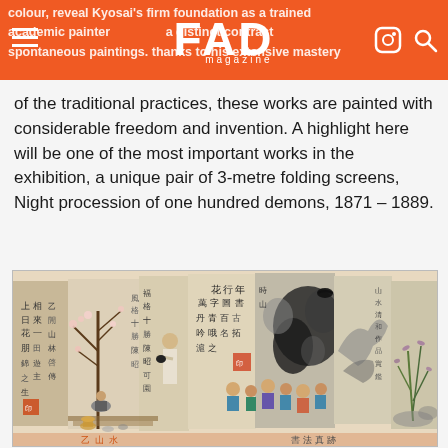FAD magazine
colour, reveal Kyosai's firm foundation as a trained academic painter and make a distinct contrast to the spontaneous paintings. thanks to his extensive mastery of the traditional practices, these works are painted with considerable freedom and invention. A highlight here will be one of the most important works in the exhibition, a unique pair of 3-metre folding screens, Night procession of one hundred demons, 1871 – 1889.
[Figure (photo): A Chinese or Japanese painting depicting scholars and figures in a gathering, with calligraphy scrolls, ink paintings of landscapes and nature, and multiple figures engaged in scholarly activities. Traditional East Asian painting style with ink and color on paper.]